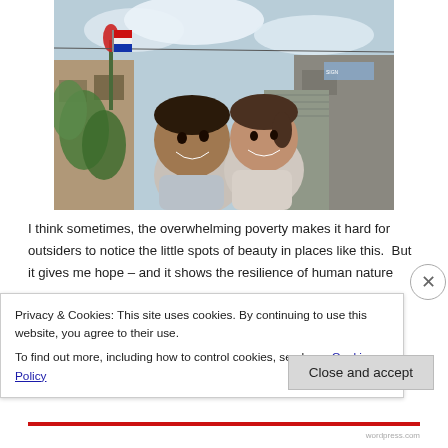[Figure (photo): Two smiling children embracing outdoors in an urban neighborhood with brick buildings and corrugated metal structures in the background. Lush green plants visible. Cloudy sky.]
I think sometimes, the overwhelming poverty makes it hard for outsiders to notice the little spots of beauty in places like this.  But it gives me hope – and it shows the resilience of human nature
Privacy & Cookies: This site uses cookies. By continuing to use this website, you agree to their use.
To find out more, including how to control cookies, see here: Cookie Policy